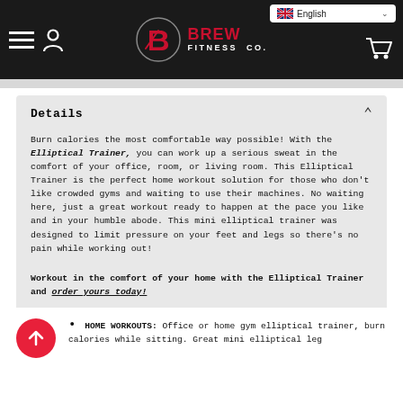Brew Fitness Co. — English header navigation
Details
Burn calories the most comfortable way possible! With the Elliptical Trainer, you can work up a serious sweat in the comfort of your office, room, or living room. This Elliptical Trainer is the perfect home workout solution for those who don't like crowded gyms and waiting to use their machines. No waiting here, just a great workout ready to happen at the pace you like and in your humble abode. This mini elliptical trainer was designed to limit pressure on your feet and legs so there's no pain while working out!
Workout in the comfort of your home with the Elliptical Trainer and order yours today!
HOME WORKOUTS: Office or home gym elliptical trainer, burn calories while sitting. Great mini elliptical leg...